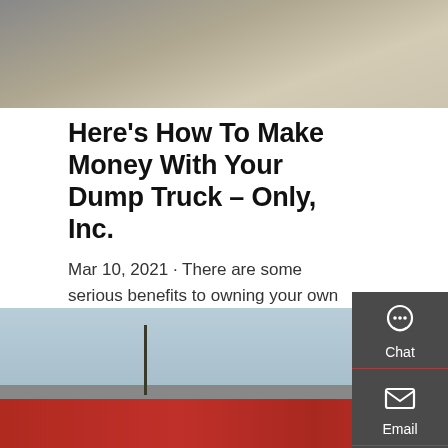[Figure (photo): Top portion of a dump truck on a pavement/yard surface, viewed from above]
Here's How To Make Money With Your Dump Truck – Only, Inc.
Mar 10, 2021 · There are some serious benefits to owning your own dump truck business. Whether you want a fleet, or just want to do your own thing, you got to make money. Being an entrepreneur means you have to go out and find work. How to get jobs Get a job! Finding work can …
GET A QUOTE
[Figure (photo): Red dump truck against a blue sky background]